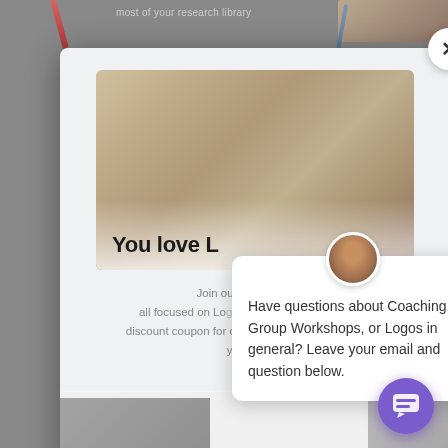[Figure (screenshot): Website modal popup overlay showing newsletter sign-up for Logos Bible software coaching, with a chat widget popup asking about coaching, group workshops, or Logos in general.]
most of your research library
You love L
Join our newsletter c... all focused on Logos Bible software and get a discount coupon for one-on-one Logos coaching in your inbox!
Have questions about Coaching, Group Workshops, or Logos in general? Leave your email and question below.